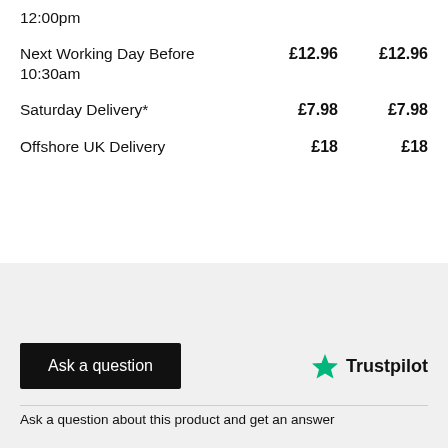| Service | Price 1 | Price 2 |
| --- | --- | --- |
| Next Working Day Before 12:00pm |  |  |
| Next Working Day Before 10:30am | £12.96 | £12.96 |
| Saturday Delivery* | £7.98 | £7.98 |
| Offshore UK Delivery | £18 | £18 |
Ask a question
[Figure (logo): Trustpilot logo with green star]
Ask a question about this product and get an answer